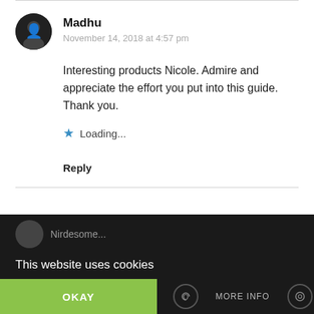[Figure (photo): User avatar photo of Madhu - circular profile picture with dark background]
Madhu
November 14, 2018 at 4:57 pm
Interesting products Nicole. Admire and appreciate the effort you put into this guide. Thank you.
Loading...
Reply
This website uses cookies
OKAY
MORE INFO